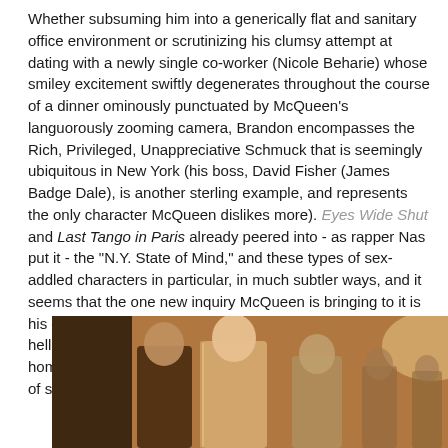Whether subsuming him into a generically flat and sanitary office environment or scrutinizing his clumsy attempt at dating with a newly single co-worker (Nicole Beharie) whose smiley excitement swiftly degenerates throughout the course of a dinner ominously punctuated by McQueen's languorously zooming camera, Brandon encompasses the Rich, Privileged, Unappreciative Schmuck that is seemingly ubiquitous in New York (his boss, David Fisher (James Badge Dale), is another sterling example, and represents the only character McQueen dislikes more). Eyes Wide Shut and Last Tango in Paris already peered into - as rapper Nas put it - the "N.Y. State of Mind," and these types of sex-addled characters in particular, in much subtler ways, and it seems that the one new inquiry McQueen is bringing to it is his questionable implication, when Brandon attends a hellishly red gay club in a ditch effort for satisfaction, that homosexuality is the lowest form of debasement for this kind of soul-sick urban individual.
[Figure (photo): A movie still showing people in a dimly lit, warm-toned setting, apparently at a social gathering or nightclub.]